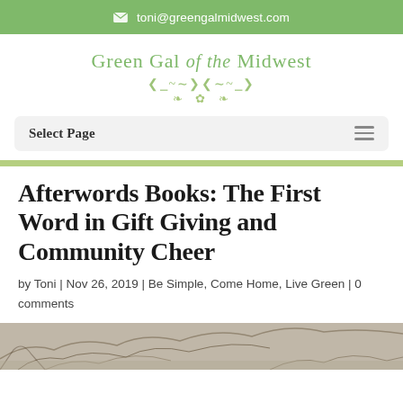✉ toni@greengalmidwest.com
[Figure (logo): Green Gal of the Midwest logo with script/serif text and decorative leaf flourish]
Select Page
Afterwords Books: The First Word in Gift Giving and Community Cheer
by Toni | Nov 26, 2019 | Be Simple, Come Home, Live Green | 0 comments
[Figure (photo): Partial photo of outdoor winter scene with tree branches]